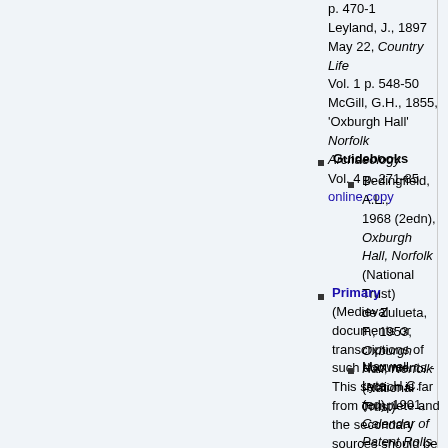p. 470-1
Leyland, J., 1897 May 22, Country Life Vol. 1 p. 548-50
McGill, G.H., 1855, 'Oxburgh Hall' Norfolk Archaeology Vol. 4 p. 271-85
online copy
Guidebooks
Bedingfield, A.L., 1968 (2edn), Oxburgh Hall, Norfolk (National Trust)
de Zulueta, F., 1953, Oxburgh Hall, Norfolk (National Trust)
Primary (Medieval documents or transcriptions of such documents - This section is far from complete and the secondary sources should be consulted for full references.)
Maxwell Lyte, H.C. (ed), 1901, Calendar of Patent Rolls Edward IV, Edward V, Richard III (1476-85) p. 308 online copy